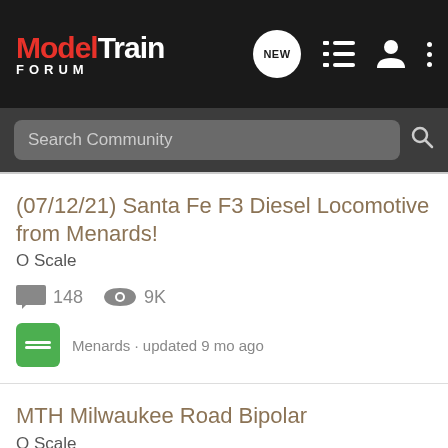ModelTrain FORUM
Search Community
(07/12/21) Santa Fe F3 Diesel Locomotive from Menards!
O Scale
148 comments, 9K views
Menards · updated 9 mo ago
MTH Milwaukee Road Bipolar
O Scale
31 comments, 3K views
Krieglok · updated Jun 13, 2018